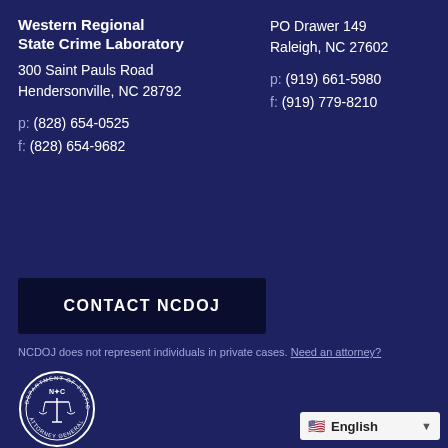Western Regional State Crime Laboratory
300 Saint Pauls Road
Hendersonville, NC 28792
p: (828) 654-0525
f: (828) 654-9682
PO Drawer 149
Raleigh, NC 27602
p: (919) 661-5980
f: (919) 779-8210
CONTACT NCDOJ
NCDOJ does not represent individuals in private cases. Need an attorney?
[Figure (logo): NC Department of Justice Attorney General seal, circular with scales of justice]
English